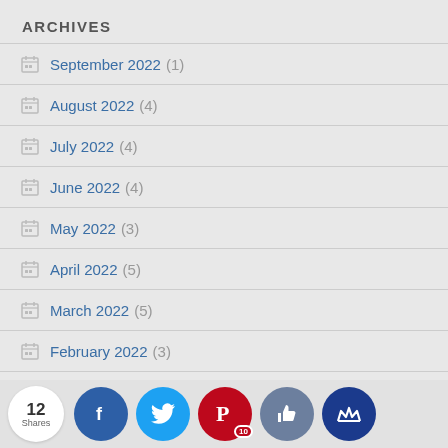ARCHIVES
September 2022 (1)
August 2022 (4)
July 2022 (4)
June 2022 (4)
May 2022 (3)
April 2022 (5)
March 2022 (5)
February 2022 (3)
January (?)